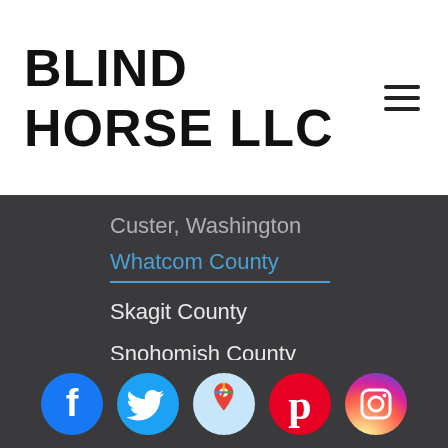BLIND HORSE LLC
Custer, Washington
Whatcom County
Skagit County
Snohomish County
[Figure (infographic): Row of 5 social media icons: Facebook (blue circle with white F), Twitter (light blue circle with white bird), Google Maps (light blue circle with map pin), Pinterest (red circle with white P), Instagram (gradient purple/orange circle with white camera outline)]